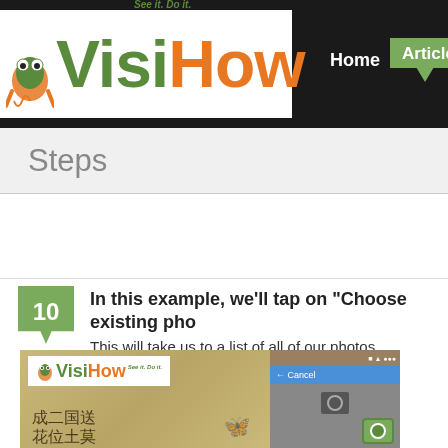[Figure (logo): VisiHow logo with frog mascot and tagline 'See it. Do it.' in white box on dark nav bar]
Home  Articles
Steps
10  In this example, we'll tap on "Choose existing pho...  This will take us to a list of all of our photos.
[Figure (screenshot): Screenshot showing VisiHow logo on a decorative background with Chinese characters and a smartphone screen showing a camera interface with Cancel button]